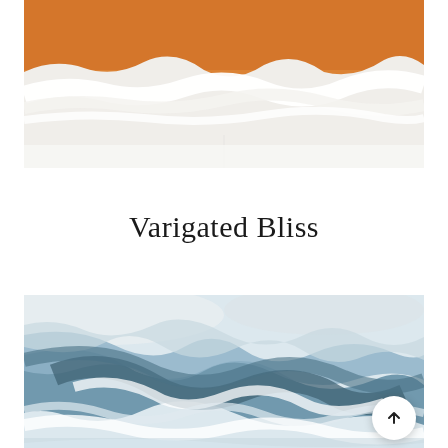[Figure (illustration): Abstract painting with burnt orange/amber color at the top and thick white paint strokes below, on a white background. The painting appears to show a horizon line where orange meets white with textured brushwork.]
Varigated Bliss
[Figure (illustration): Abstract fluid art painting in shades of blue and white, resembling ocean waves or marble texture. Swirling patterns of deep navy blue, slate blue, and white create a dynamic, flowing composition.]